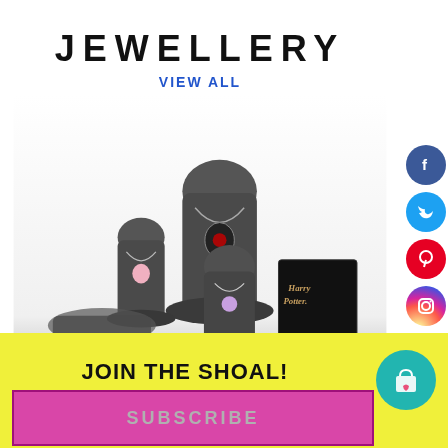JEWELLERY
VIEW ALL
[Figure (photo): Multiple jewellery display busts showing necklaces with pendants including Harry Potter themed jewellery, bracelets, and accessories on dark mannequin stands]
[Figure (infographic): Social media icons column: Facebook (blue), Twitter (blue), Pinterest (red), Instagram (gradient), Email (dark red), Close/X (grey)]
JOIN THE SHOAL!
SUBSCRIBE